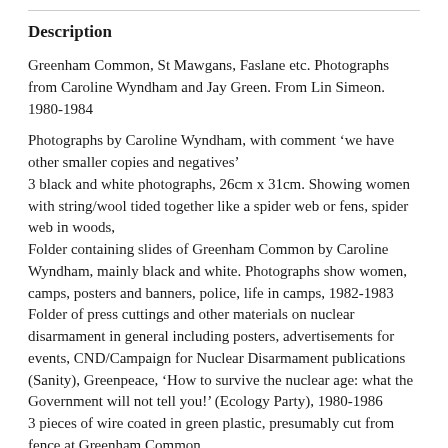Description
Greenham Common, St Mawgans, Faslane etc. Photographs from Caroline Wyndham and Jay Green. From Lin Simeon. 1980-1984
Photographs by Caroline Wyndham, with comment ‘we have other smaller copies and negatives’
3 black and white photographs, 26cm x 31cm. Showing women with string/wool tided together like a spider web or fens, spider web in woods,
Folder containing slides of Greenham Common by Caroline Wyndham, mainly black and white. Photographs show women, camps, posters and banners, police, life in camps, 1982-1983
Folder of press cuttings and other materials on nuclear disarmament in general including posters, advertisements for events, CND/Campaign for Nuclear Disarmament publications (Sanity), Greenpeace, ‘How to survive the nuclear age: what the Government will not tell you!’ (Ecology Party), 1980-1986
3 pieces of wire coated in green plastic, presumably cut from fence at Greenham Common